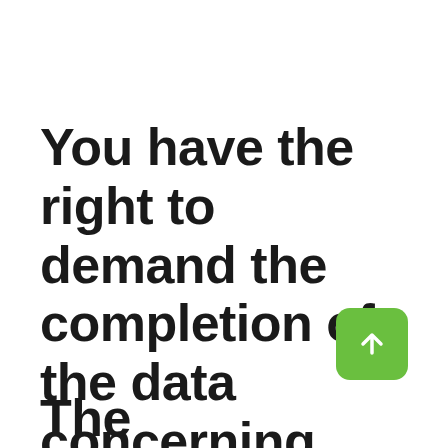You have the right to demand the completion of the data concerning you or the correction of the incorrect data concerning you.
The...